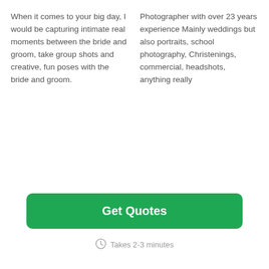When it comes to your big day, I would be capturing intimate real moments between the bride and groom, take group shots and creative, fun poses with the bride and groom.
Photographer with over 23 years experience Mainly weddings but also portraits, school photography, Christenings, commercial, headshots, anything really
Get Quotes
Takes 2-3 minutes